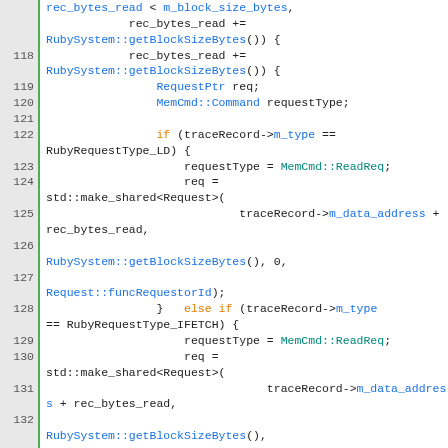[Figure (screenshot): Source code listing in C++ showing lines 118-137 of a memory request handler. Code uses syntax highlighting with blue for class/type names, orange for keywords (if/else), teal for constants (MemCmd::ReadReq, etc.), and black for regular code. Lines include conditional logic for traceRecord->m_type checks against RubyRequestType_LD and RubyRequestType_IFETCH, creating std::make_shared<Request> objects.]